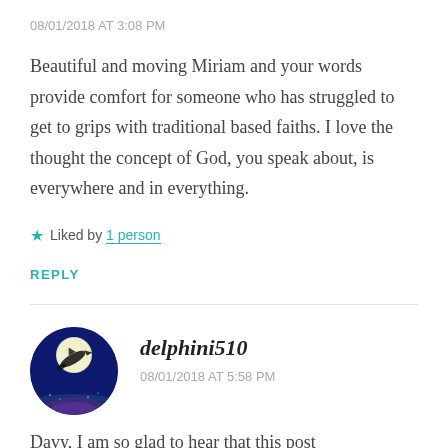08/01/2018 AT 3:08 PM
Beautiful and moving Miriam and your words provide comfort for someone who has struggled to get to grips with traditional based faiths. I love the thought the concept of God, you speak about, is everywhere and in everything.
★ Liked by 1 person
REPLY
[Figure (photo): Circular avatar image showing a dolphin jumping in front of a full moon against a dark blue night background with water reflections]
delphini510
08/01/2018 AT 5:58 PM
Davy, I am so glad to hear that this post